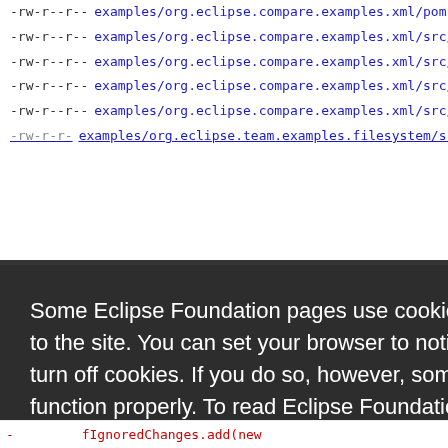-rw-r--r-- examples/org.eclipse.compare.examples.xml/pom.xml
-rw-r--r-- examples/org.eclipse.compare.examples.xml/src/org/ecl
-rw-r--r-- examples/org.eclipse.compare.examples.xml/src/org/ecl
-rw-r--r-- examples/org.eclipse.compare.examples.xml/src/org/ecl
-rw-r--r-- examples/org.eclipse.compare.examples.xml/src/org/ecl
Some Eclipse Foundation pages use cookies to better serve you when you return to the site. You can set your browser to notify you before you receive a cookie or turn off cookies. If you do so, however, some areas of some sites may not function properly. To read Eclipse Foundation Privacy Policy
click here.
Decline
Allow cookies
fIgnoredChanges.add(new